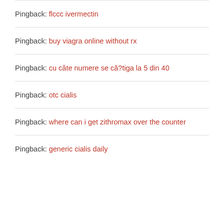Pingback: flccc ivermectin
Pingback: buy viagra online without rx
Pingback: cu câte numere se că?tiga la 5 din 40
Pingback: otc cialis
Pingback: where can i get zithromax over the counter
Pingback: generic cialis daily